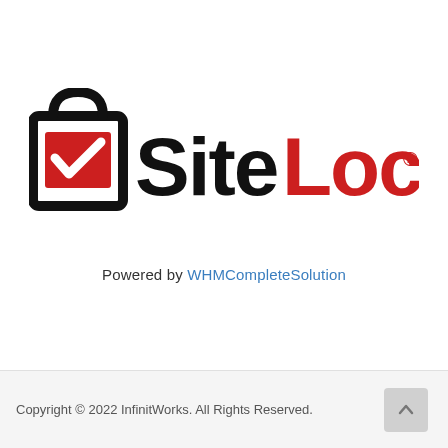[Figure (logo): SiteLock logo with shopping bag icon containing a red checkmark on the left, and 'Site' in black bold text and 'Lock' in red bold text followed by a registered trademark symbol]
Powered by WHMCompleteSolution
Copyright © 2022 InfinitWorks. All Rights Reserved.